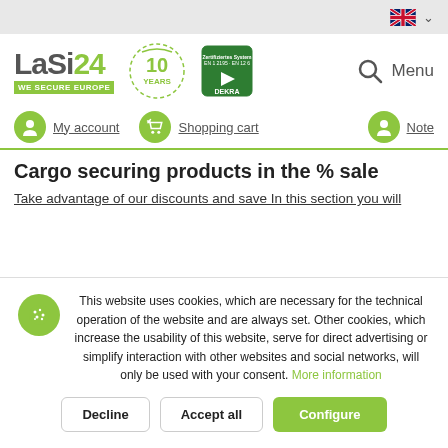[Figure (screenshot): LaSi24 website header with logo, 10 Years badge, DEKRA certification badge, search icon, and Menu label]
My account
Shopping cart
Note
Cargo securing products in the % sale
Take advantage of our discounts and save In this section you will
This website uses cookies, which are necessary for the technical operation of the website and are always set. Other cookies, which increase the usability of this website, serve for direct advertising or simplify interaction with other websites and social networks, will only be used with your consent. More information
Decline
Accept all
Configure